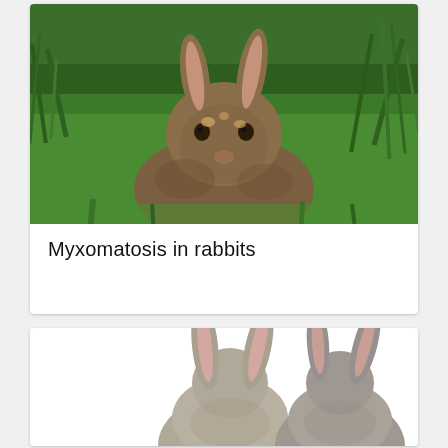[Figure (photo): A brown/grey rabbit sitting on green grass, facing the camera, showing signs of myxomatosis (bumps on face). Green leafy background.]
Myxomatosis in rabbits
[Figure (photo): Two grey rabbits viewed from behind/side on a white background, showing their ears and fur.]